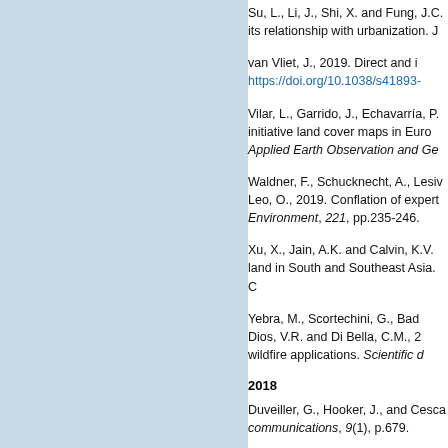Su, L., Li, J., Shi, X. and Fung, J.C. its relationship with urbanization. J
van Vliet, J., 2019. Direct and i https://doi.org/10.1038/s41893-
Vilar, L., Garrido, J., Echavarría, P. initiative land cover maps in Euro Applied Earth Observation and Ge
Waldner, F., Schucknecht, A., Lesiv Leo, O., 2019. Conflation of exper Environment, 221, pp.235-246.
Xu, X., Jain, A.K. and Calvin, K.V. land in South and Southeast Asia. C
Yebra, M., Scortechini, G., Bad Dios, V.R. and Di Bella, C.M., 2 wildfire applications. Scientific d
2018
Duveiller, G., Hooker, J., and Cesc communications, 9(1), p.679.
Duveiller, G., Hooker, J., and Cesc data, 5, p.180014.